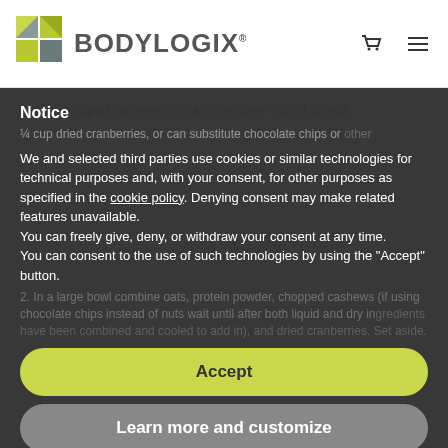[Figure (logo): Bodylogix logo with green/grey shield icon and BODYLOGIX text]
BODYLOGIX [cart icon] [menu icon]
¼ cup chopped cashews, or can use other nuts of choice
Notice
¼ cup dried cranberries, or can substitute chocolate chips or other
We and selected third parties use cookies or similar technologies for technical purposes and, with your consent, for other purposes as specified in the cookie policy. Denying consent may make related features unavailable.
You can freely give, deny, or withdraw your consent at any time.
You can consent to the use of such technologies by using the "Accept" button.
2. In a large bowl combine oats, protein powder, chopped cashews (if using chocolate chips instead of nuts wait until after both liquid and dry ingredients have been combined and cooled to add in), and dried cranberries. Set aside.
Accept
Learn more and customize
3. Add cashew butter, honey, and coconut oil to a heavy bottom pan. Melt together over medium low heat. Once melted, fold in